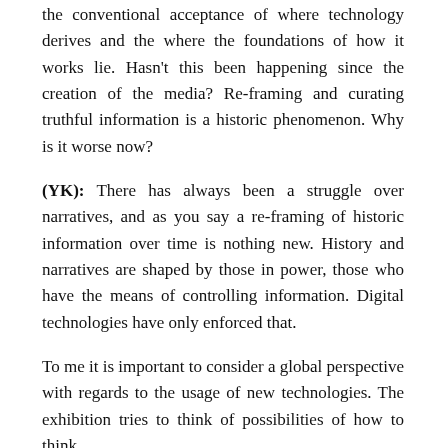the conventional acceptance of where technology derives and the where the foundations of how it works lie. Hasn't this been happening since the creation of the media? Re-framing and curating truthful information is a historic phenomenon. Why is it worse now?
(YK): There has always been a struggle over narratives, and as you say a re-framing of historic information over time is nothing new. History and narratives are shaped by those in power, those who have the means of controlling information. Digital technologies have only enforced that.
To me it is important to consider a global perspective with regards to the usage of new technologies. The exhibition tries to think of possibilities of how to think